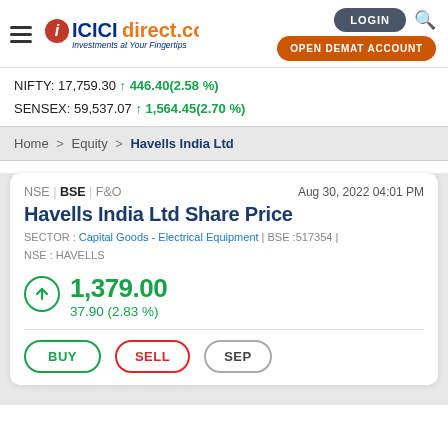[Figure (logo): ICICI direct.com logo with tagline 'Investments at Your Fingertips']
NIFTY: 17,759.30 ↑ 446.40(2.58 %)
SENSEX: 59,537.07 ↑ 1,564.45(2.70 %)
Home > Equity > Havells India Ltd
NSE | BSE | F&O    Aug 30, 2022 04:01 PM
Havells India Ltd Share Price
SECTOR : Capital Goods - Electrical Equipment | BSE :517354 | NSE : HAVELLS
1,379.00
37.90 (2.83 %)
BUY    SELL    SEP